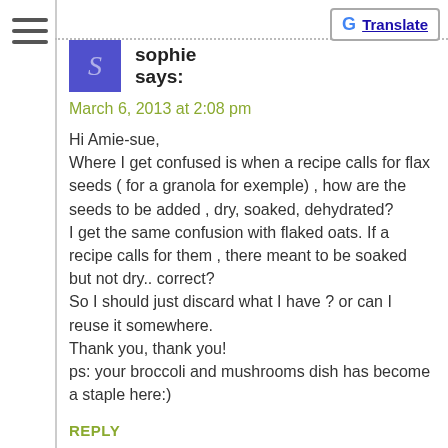[Figure (other): Hamburger menu icon with three horizontal lines in left sidebar]
[Figure (logo): Google Translate button with G logo and 'Translate' text in top-right corner]
sophie
says:
March 6, 2013 at 2:08 pm
Hi Amie-sue,
Where I get confused is when a recipe calls for flax seeds ( for a granola for exemple) , how are the seeds to be added , dry, soaked, dehydrated?
I get the same confusion with flaked oats. If a recipe calls for them , there meant to be soaked but not dry.. correct?
So I should just discard what I have ? or can I reuse it somewhere.
Thank you, thank you!
ps: your broccoli and mushrooms dish has become a staple here:)
REPLY